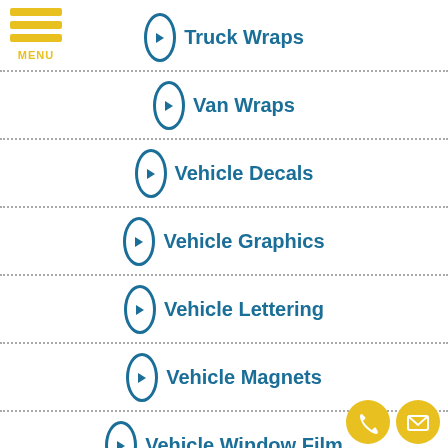[Figure (logo): Hamburger menu icon with three yellow bars and MENU label]
Truck Wraps
Van Wraps
Vehicle Decals
Vehicle Graphics
Vehicle Lettering
Vehicle Magnets
Vehicle Window Film
Vinyl Lettering
Vinyl Printing
[Figure (illustration): Phone and email contact icon circles in yellow at bottom right]